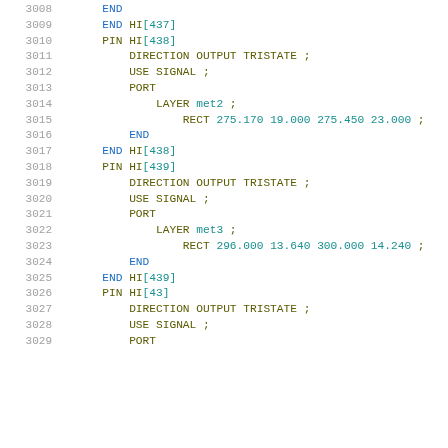3008      END
3009      END HI[437]
3010      PIN HI[438]
3011          DIRECTION OUTPUT TRISTATE ;
3012          USE SIGNAL ;
3013          PORT
3014              LAYER met2 ;
3015                  RECT 275.170 19.000 275.450 23.000 ;
3016          END
3017      END HI[438]
3018      PIN HI[439]
3019          DIRECTION OUTPUT TRISTATE ;
3020          USE SIGNAL ;
3021          PORT
3022              LAYER met3 ;
3023                  RECT 296.000 13.640 300.000 14.240 ;
3024          END
3025      END HI[439]
3026      PIN HI[43]
3027          DIRECTION OUTPUT TRISTATE ;
3028          USE SIGNAL ;
3029          PORT